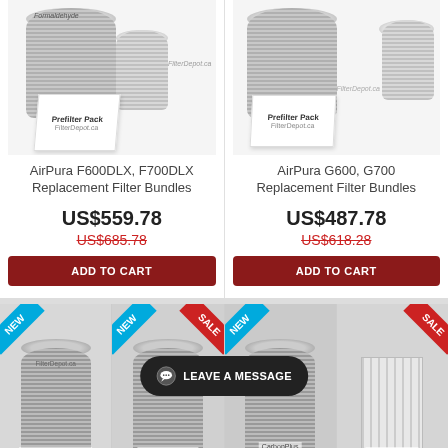[Figure (photo): AirPura F600DLX F700DLX replacement filter bundle product image with carbon cylinder filters and prefilter pack]
AirPura F600DLX, F700DLX Replacement Filter Bundles
US$559.78
US$685.78
ADD TO CART
[Figure (photo): AirPura G600 G700 replacement filter bundle product image with carbon cylinder filters and prefilter pack]
AirPura G600, G700 Replacement Filter Bundles
US$487.78
US$618.28
ADD TO CART
[Figure (photo): 2 inch Carbon Canister filter with NEW ribbon badge]
[Figure (photo): 2 inch Super HEPA filter with NEW and SALE ribbon badges]
[Figure (photo): CarbonPlus Odorless filter with NEW ribbon badge]
[Figure (photo): HEPA Barrier filter with SALE ribbon badge]
LEAVE A MESSAGE